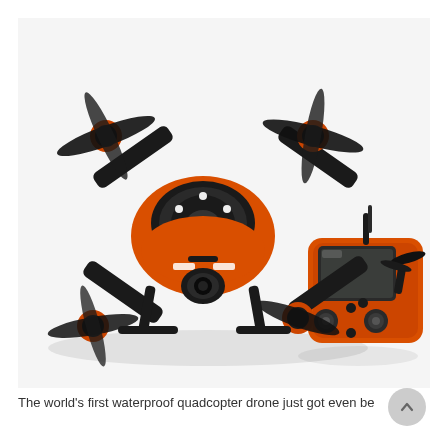[Figure (photo): An orange and black waterproof quadcopter drone with four propellers and a camera mount, shown alongside its orange and black remote controller with a built-in screen. Both are photographed against a white background.]
The world's first waterproof quadcopter drone just got even be